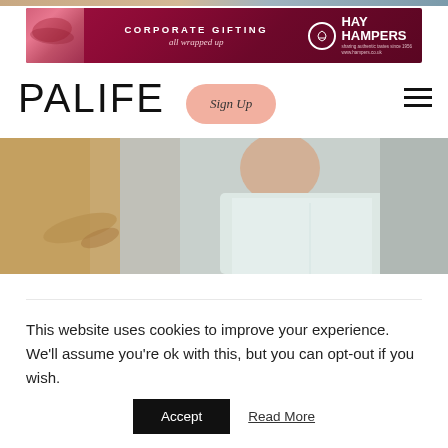[Figure (photo): Top image strip — partial photo at very top of page]
[Figure (photo): HAY HAMPERS corporate gifting advertisement banner with pink product image on left, maroon/dark red background, text 'CORPORATE GIFTING all wrapped up' and HAY HAMPERS logo on right]
PALIFE
[Figure (other): Sign Up button with peach/salmon rounded rectangle background and italic script text]
[Figure (other): Hamburger menu icon (three horizontal lines)]
[Figure (photo): Hero photo of elderly person in white/light blue shirt, with blurred foreground bird/object, warm beige and cool grey tones]
This website uses cookies to improve your experience. We'll assume you're ok with this, but you can opt-out if you wish.
Accept   Read More